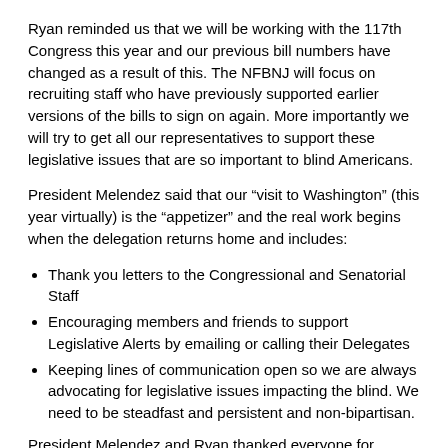Ryan reminded us that we will be working with the 117th Congress this year and our previous bill numbers have changed as a result of this. The NFBNJ will focus on recruiting staff who have previously supported earlier versions of the bills to sign on again. More importantly we will try to get all our representatives to support these legislative issues that are so important to blind Americans.
President Melendez said that our “visit to Washington” (this year virtually) is the “appetizer” and the real work begins when the delegation returns home and includes:
Thank you letters to the Congressional and Senatorial Staff
Encouraging members and friends to support Legislative Alerts by emailing or calling their Delegates
Keeping lines of communication open so we are always advocating for legislative issues impacting the blind. We need to be steadfast and persistent and non-bipartisan.
President Melendez and Ryan thanked everyone for participating on this important “Town Hall Meeting” and encouraged all to spread the word to their family and friends. These are legislative issues impacting the blind across the country. We have a unified platform to help blind people to live the lives they want!